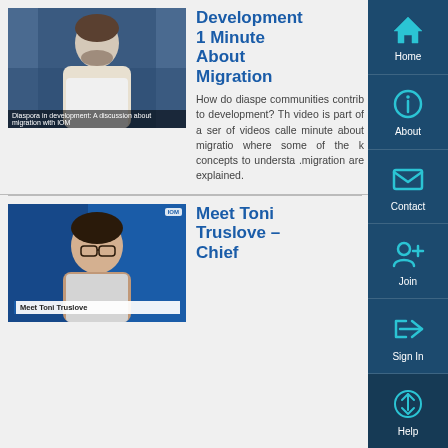[Figure (screenshot): Thumbnail of a video showing a man in front of a blurred background, with a label overlay at the bottom]
Development 1 Minute About Migration
How do diaspora communities contribute to development? This video is part of a series of videos called "1 minute about migration" where some of the key concepts to understand migration are explained.
[Figure (screenshot): Thumbnail of a video showing a woman with glasses (Toni Truslove) in front of a blue background with IOM branding]
Meet Toni Truslove – Chief
[Figure (screenshot): Navigation sidebar with Home, About, Contact, Join, Sign In, and Help icons on a dark blue background]